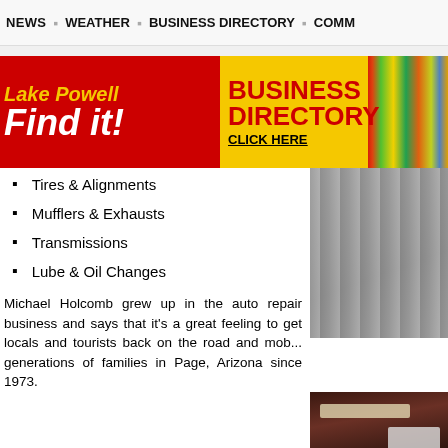NEWS  ·  WEATHER  ·  BUSINESS DIRECTORY  ·  COMM...
[Figure (infographic): Lake Powell Business Directory 'Find it!' banner ad with yellow box saying DIRECTORY CLICK HERE, flanked by photos of a car with travelers and colorful outdoor gear/kayaks]
Tires & Alignments
Mufflers & Exhausts
Transmissions
Lube & Oil Changes
[Figure (photo): Outdoor shelving or warehouse aisle scene, vertical metal poles and shelves visible]
Michael Holcomb grew up in the auto repair business and says that it's a great feeling to get locals and tourists back on the road and mob... generations of families in Page, Arizona since 1973.
[Figure (photo): Interior of an auto repair shop, dark tones with overhead fluorescent lighting and equipment visible]